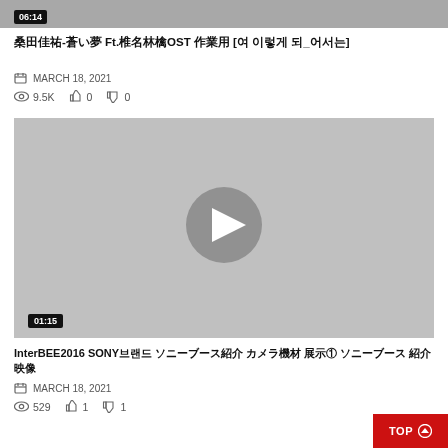[Figure (screenshot): Video thumbnail top portion showing 06:14 duration badge, gray background]
桑田佳祐-蒼い夢 Ft.椎名林檎OST 作業用 [여 이렇게 되_어서는]
MARCH 18, 2021
9.5K  👍 0  👎 0
[Figure (screenshot): Video thumbnail with play button in center and 01:15 duration badge, gray background]
InterBEE2016 SONY브랜드 ソニーブース紹介 カメラ機材 展示① ソニーブース 紹介映像
MARCH 18, 2021
529  👍 1  👎 1